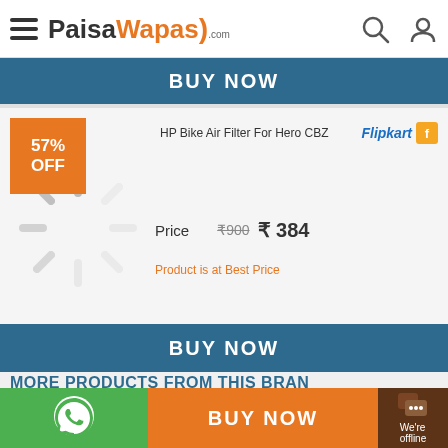PaisaWapas.com
BUY NOW
57% OFF
[Figure (logo): Flipkart logo with orange star icon]
[Figure (illustration): Loading spinner / circular loading indicator]
HP Bike Air Filter For Hero CBZ
Price  ₹900  ₹ 384
Product is at Best Price
BUY NOW
MORE PRODUCTS FROM THIS BRAND
BUY NOW
[Figure (logo): WhatsApp icon in green circle]
We're offline